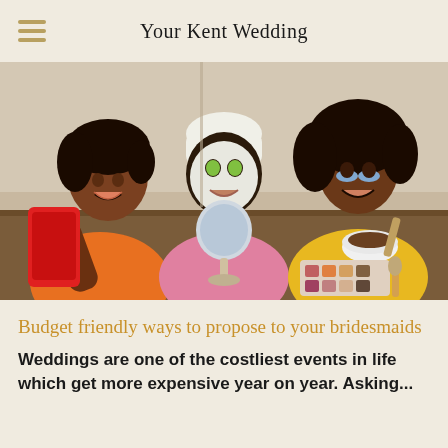Your Kent Wedding
[Figure (photo): Three women enjoying a spa/beauty day together: one in orange holding a red phone for a selfie, one in pink with a white face mask and cucumber eyes using a round mirror, and one in yellow with eye patches holding a bowl and brush, with makeup palette on table in front of them.]
Budget friendly ways to propose to your bridesmaids
Weddings are one of the costliest events in life which get more expensive year on year. Asking...